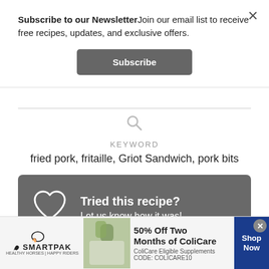Subscribe to our NewsletterJoin our email list to receive free recipes, updates, and exclusive offers.
Subscribe
KEYWORD
fried pork, fritaille, Griot Sandwich, pork bits
[Figure (infographic): Grey CTA box with heart icon, text 'Tried this recipe? Let us know how it was!']
[Figure (infographic): SmartPak advertisement banner: 50% Off Two Months of ColiCare, ColiCare Eligible Supplements, CODE: COLICARE10, Shop Now button]